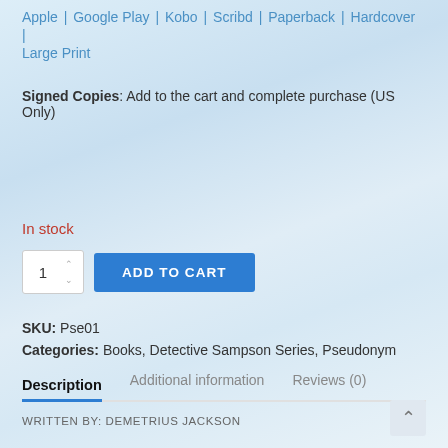Apple | Google Play | Kobo | Scribd | Paperback | Hardcover | Large Print
Signed Copies: Add to the cart and complete purchase (US Only)
In stock
1  ADD TO CART
SKU: Pse01
Categories: Books, Detective Sampson Series, Pseudonym
Description  Additional information  Reviews (0)
WRITTEN BY: DEMETRIUS JACKSON